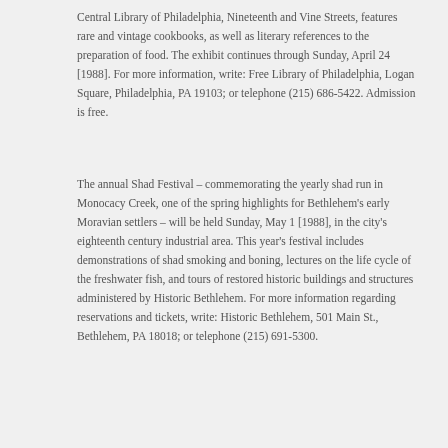Central Library of Philadelphia, Nineteenth and Vine Streets, features rare and vintage cookbooks, as well as literary references to the preparation of food. The exhibit continues through Sunday, April 24 [1988]. For more information, write: Free Library of Philadelphia, Logan Square, Philadelphia, PA 19103; or telephone (215) 686-5422. Admission is free.
The annual Shad Festival – commemorating the yearly shad run in Monocacy Creek, one of the spring highlights for Bethlehem's early Moravian settlers – will be held Sunday, May 1 [1988], in the city's eighteenth century industrial area. This year's festival includes demonstrations of shad smoking and boning, lectures on the life cycle of the freshwater fish, and tours of restored historic buildings and structures administered by Historic Bethlehem. For more information regarding reservations and tickets, write: Historic Bethlehem, 501 Main St., Bethlehem, PA 18018; or telephone (215) 691-5300.